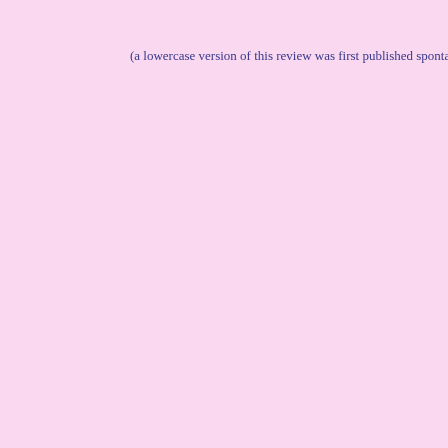(a lowercase version of this review was first published spontaneously as tweet